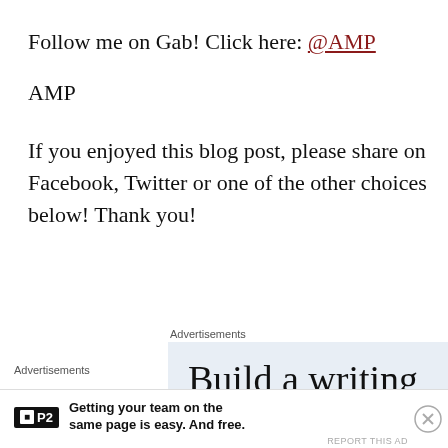Follow me on Gab! Click here: @AMP
AMP
If you enjoyed this blog post, please share on Facebook, Twitter or one of the other choices below!  Thank you!
Advertisements
[Figure (screenshot): Advertisement banner showing 'Build a writing habit. Post on' in large serif text on light blue background]
Advertisements
[Figure (screenshot): P2 advertisement: Getting your team on the same page is easy. And free.]